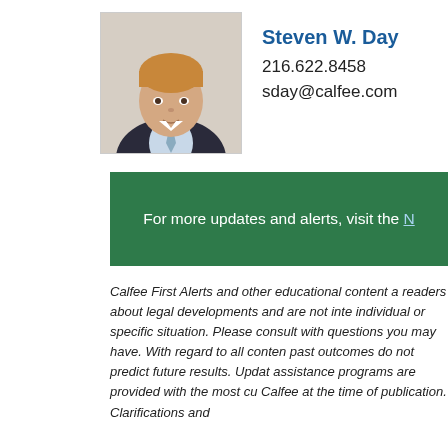[Figure (photo): Professional headshot of Steven W. Day wearing a dark suit and light blue tie]
Steven W. Day
216.622.8458
sday@calfee.com
For more updates and alerts, visit the N
Calfee First Alerts and other educational content a readers about legal developments and are not inte individual or specific situation. Please consult with questions you may have. With regard to all conten past outcomes do not predict future results. Updat assistance programs are provided with the most cu Calfee at the time of publication. Clarifications and